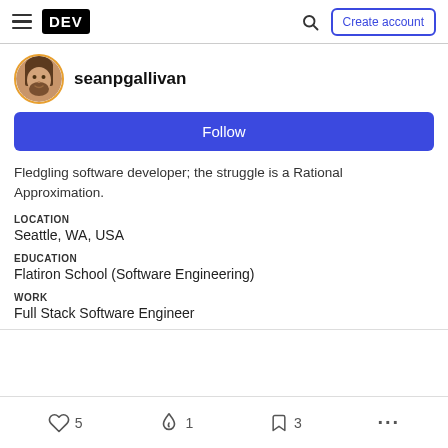DEV — Create account
[Figure (photo): Profile avatar photo of seanpgallivan, a person with beard and long hair]
seanpgallivan
Follow
Fledgling software developer; the struggle is a Rational Approximation.
LOCATION
Seattle, WA, USA
EDUCATION
Flatiron School (Software Engineering)
WORK
Full Stack Software Engineer
5  1  3  ...